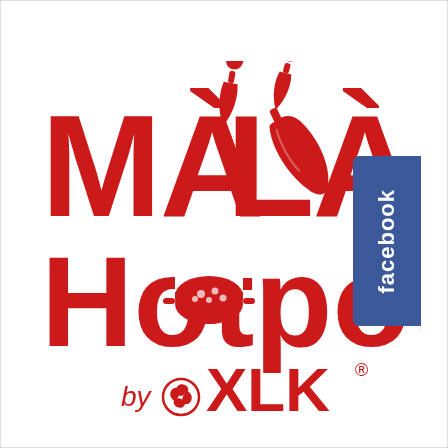[Figure (logo): Mala Hotpot by XLK logo. Large red stylized text 'MALA' with accent marks and chili pepper illustrations, below it 'Hotpot' with a hotpot icon replacing the 'o', and 'by XLK' with a swirl icon at the bottom. A Facebook badge appears in the top right corner.]